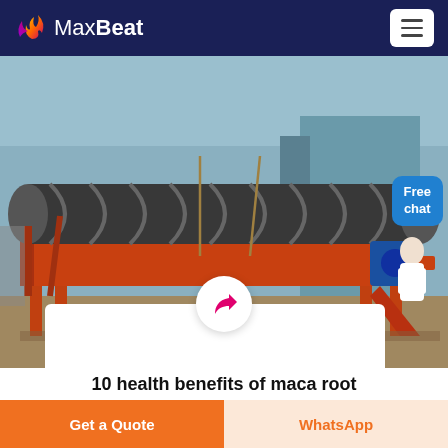MaxBeat
[Figure (photo): Industrial spiral classifier / screw conveyor machine with large orange steel frame and black rubber/belt spiral drum, photographed in a factory warehouse. A person in white lab coat visible at right. Blue electric motor visible.]
10 health benefits of maca root